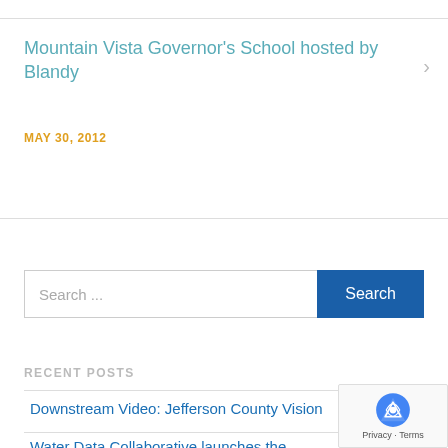Mountain Vista Governor's School hosted by Blandy
MAY 30, 2012
Search ...
RECENT POSTS
Downstream Video: Jefferson County Vision
Water Data Collaborative launches the Mainstem